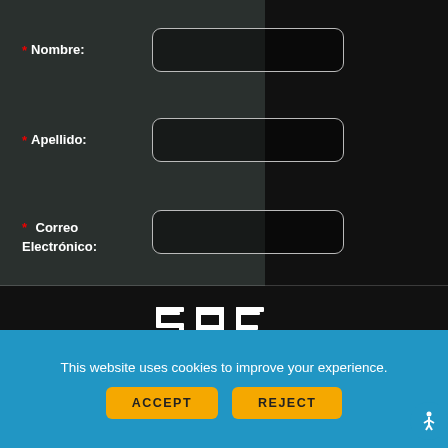* Nombre:
* Apellido:
* Correo Electrónico:
[Figure (other): ENVIAR button - yellow rounded rectangle with bold text ENVIAR]
[Figure (logo): SAE Institute logo - white stylized letters SAE with INSTITUTE text below]
This website uses cookies to improve your experience.
ACCEPT
REJECT